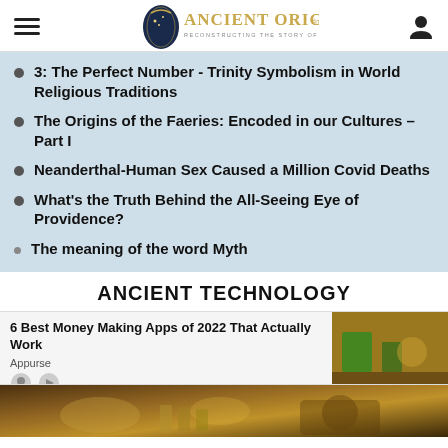Ancient Origins - Reconstructing the story of humanity's past
3: The Perfect Number - Trinity Symbolism in World Religious Traditions
The Origins of the Faeries: Encoded in our Cultures – Part I
Neanderthal-Human Sex Caused a Million Covid Deaths
What's the Truth Behind the All-Seeing Eye of Providence?
The meaning of the word Myth
ANCIENT TECHNOLOGY
6 Best Money Making Apps of 2022 That Actually Work
Appurse
[Figure (photo): Blurred photo of ancient artifacts/technology objects on a table, warm golden-brown tones]